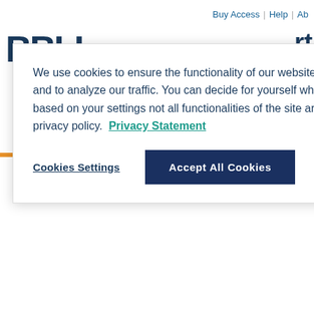Buy Access | Help | Ab
[Figure (logo): Partial logo letters 'BBLL' in dark navy bold font]
We use cookies to ensure the functionality of our website, to personalize content, to provide social media features, and to analyze our traffic. You can decide for yourself which categories you want to deny or allow. Please note that based on your settings not all functionalities of the site are available. Further information can be found in our privacy policy. Privacy Statement
Cookies Settings
Accept All Cookies
Present 49
Search
Your search for 'dc_creator:( "No "Noll, Mark A." )' returned 49 res
Sort Results by Relevance | Newe
Yale University